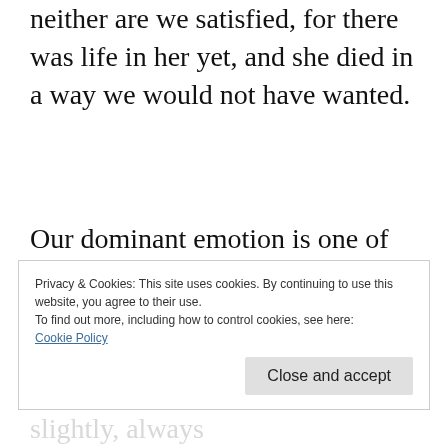neither are we satisfied, for there was life in her yet, and she died in a way we would not have wanted.
Our dominant emotion is one of gratitude. She lived for four score and ten years, a noble and full life. For almost all of that time she was
Privacy & Cookies: This site uses cookies. By continuing to use this website, you agree to their use.
To find out more, including how to control cookies, see here: Cookie Policy
Close and accept
disappointed and passing; less slightly, always